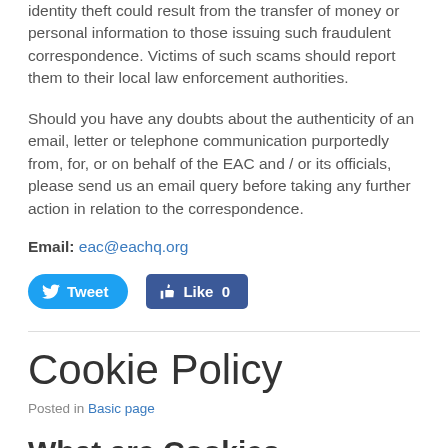identity theft could result from the transfer of money or personal information to those issuing such fraudulent correspondence. Victims of such scams should report them to their local law enforcement authorities.
Should you have any doubts about the authenticity of an email, letter or telephone communication purportedly from, for, or on behalf of the EAC and / or its officials, please send us an email query before taking any further action in relation to the correspondence.
Email: eac@eachq.org
[Figure (other): Tweet and Like social media buttons]
Cookie Policy
Posted in Basic page
What are Cookies